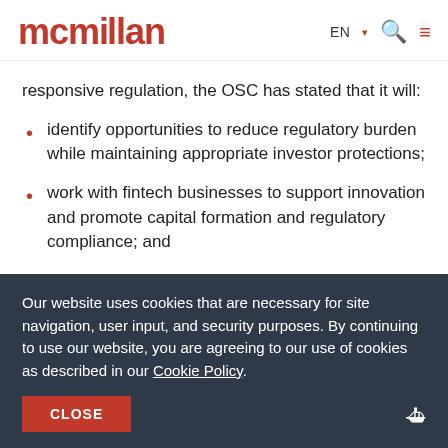mcmillan | EN ▾ 🔍 ☰
responsive regulation, the OSC has stated that it will:
identify opportunities to reduce regulatory burden while maintaining appropriate investor protections;
work with fintech businesses to support innovation and promote capital formation and regulatory compliance; and
Our website uses cookies that are necessary for site navigation, user input, and security purposes. By continuing to use our website, you are agreeing to our use of cookies as described in our Cookie Policy.
CLOSE